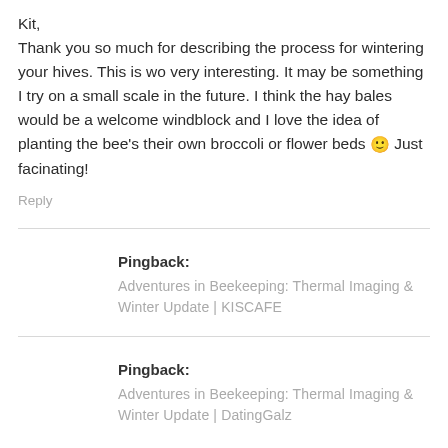Kit,
Thank you so much for describing the process for wintering your hives. This is wo very interesting. It may be something I try on a small scale in the future. I think the hay bales would be a welcome windblock and I love the idea of planting the bee's their own broccoli or flower beds 🙂 Just facinating!
Reply
Pingback:
Adventures in Beekeeping: Thermal Imaging & Winter Update | KISCAFE
Pingback:
Adventures in Beekeeping: Thermal Imaging & Winter Update | DatingGalz